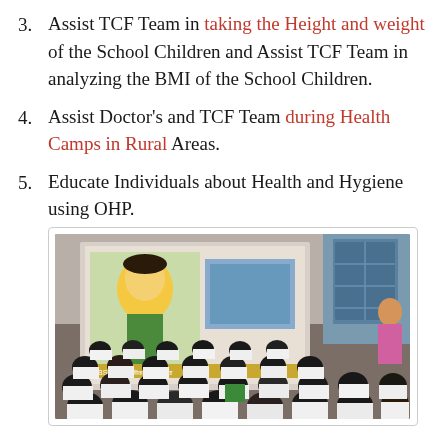3. Assist TCF Team in taking the Height and weight of the School Children and Assist TCF Team in analyzing the BMI of the School Children.
4. Assist Doctor’s and TCF Team during Health Camps in Rural Areas.
5. Educate Individuals about Health and Hygiene using OHP.
[Figure (photo): Students in white uniforms sitting in rows watching a projected screen showing an educational/CBSE video in a classroom setting. A person stands to the right side near a blue wall with a window.]